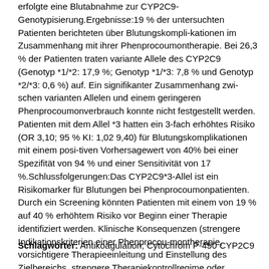erfolgte eine Blutabnahme zur CYP2C9-Genotypisierung.Ergebnisse:19 % der untersuchten Patienten berichteten über Blutungskompli-kationen im Zusammenhang mit ihrer Phenprocoumontherapie. Bei 26,3 % der Patienten traten variante Allele des CYP2C9 (Genotyp *1/*2: 17,9 %; Genotyp *1/*3: 7,8 % und Genotyp *2/*3: 0,6 %) auf. Ein signifikanter Zusammenhang zwi-schen varianten Allelen und einem geringeren Phenprocoumonverbrauch konnte nicht festgestellt werden. Patienten mit dem Allel *3 hatten ein 3-fach erhöhtes Risiko (OR 3,10; 95 % KI: 1,02 9,40) für Blutungskomplikationen mit einem posi-tiven Vorhersagewert von 40% bei einer Spezifität von 94 % und einer Sensitivität von 17 %.Schlussfolgerungen:Das CYP2C9*3-Allel ist ein Risikomarker für Blutungen bei Phenprocoumonpatienten. Durch ein Screening könnten Patienten mit einem von 19 % auf 40 % erhöhtem Risiko vor Beginn einer Therapie identifiziert werden. Klinische Konsequenzen (strengere Indikationskriterien einer Phenprocou-montherapie, vorsichtigere Therapieeinleitung und Einstellung des Zielbereichs, strengere Therapiekontrollregime oder Selbstkontrolle durch den Patienten) bzw. die Nutzung eines Screenings auf variante Allele des CYP2C9 müssen in weiteren Studien untersucht werden.
Schlagwörter: Antikoagulation; Cytochrom P-450 CYP2C9